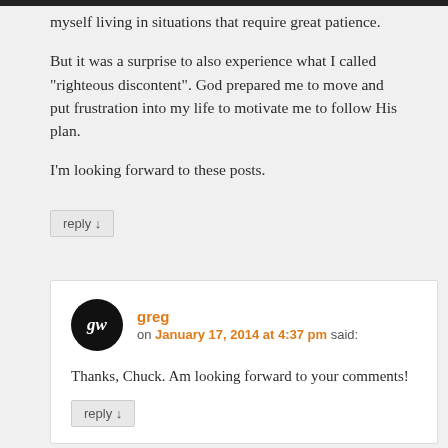myself living in situations that require great patience.
But it was a surprise to also experience what I called "righteous discontent". God prepared me to move and put frustration into my life to motivate me to follow His plan.
I'm looking forward to these posts.
reply ↓
greg
on January 17, 2014 at 4:37 pm said:
Thanks, Chuck. Am looking forward to your comments!
reply ↓